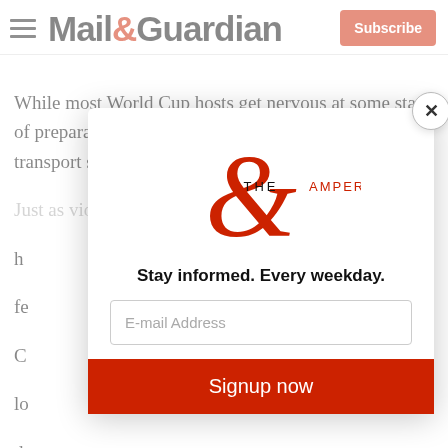Mail&Guardian | Subscribe
While most World Cup hosts get nervous at some stage of preparations, about the capacity of stadiums or transport systems, in South Africa the worry is murder. Just as violence threatened to derail the peace train...
[Figure (logo): The Ampersand newsletter logo — a large red ampersand with 'THE AMPERSAND' text in red serif/sans lettering]
Stay informed. Every weekday.
E-mail Address
Signup now